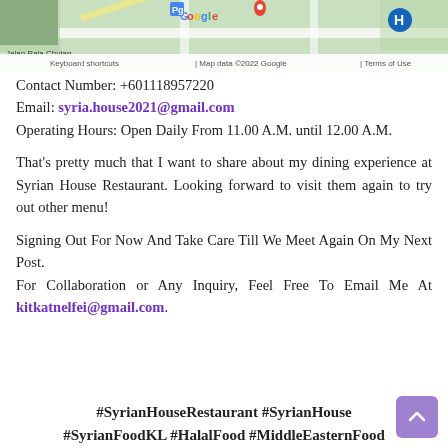[Figure (map): Google Maps screenshot showing Jalan Raja Chulan area with map attribution bar at bottom reading 'Keyboard shortcuts | Map data ©2022 Google | Terms of Use']
Contact Number: +601118957220
Email: syria.house2021@gmail.com
Operating Hours: Open Daily From 11.00 A.M. until 12.00 A.M.
That's pretty much that I want to share about my dining experience at Syrian House Restaurant. Looking forward to visit them again to try out other menu!
Signing Out For Now And Take Care Till We Meet Again On My Next Post.
For Collaboration or Any Inquiry, Feel Free To Email Me At kitkatnelfei@gmail.com.
#SyrianHouseRestaurant #SyrianHouse #SyrianFoodKL #HalalFood #MiddleEasternFood